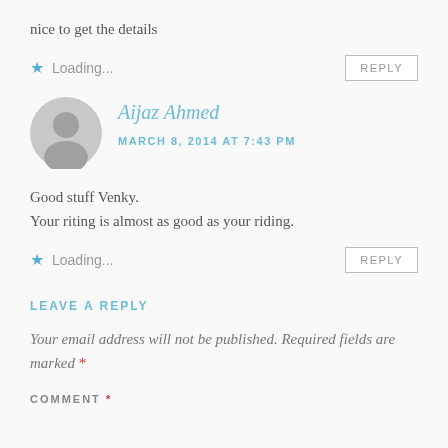nice to get the details
★ Loading...   REPLY
Aijaz Ahmed
MARCH 8, 2014 AT 7:43 PM
Good stuff Venky.
Your riting is almost as good as your riding.
★ Loading...   REPLY
LEAVE A REPLY
Your email address will not be published. Required fields are marked *
COMMENT *